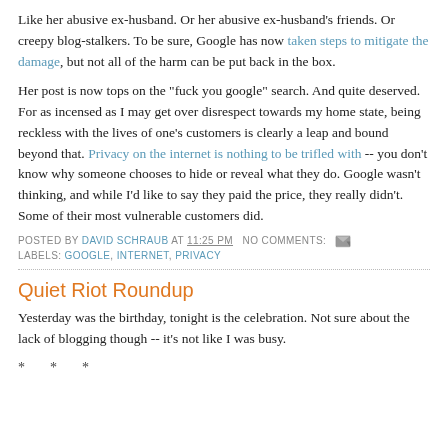Like her abusive ex-husband. Or her abusive ex-husband's friends. Or creepy blog-stalkers. To be sure, Google has now taken steps to mitigate the damage, but not all of the harm can be put back in the box.
Her post is now tops on the "fuck you google" search. And quite deserved. For as incensed as I may get over disrespect towards my home state, being reckless with the lives of one's customers is clearly a leap and bound beyond that. Privacy on the internet is nothing to be trifled with -- you don't know why someone chooses to hide or reveal what they do. Google wasn't thinking, and while I'd like to say they paid the price, they really didn't. Some of their most vulnerable customers did.
POSTED BY DAVID SCHRAUB AT 11:25 PM  NO COMMENTS:
LABELS: GOOGLE, INTERNET, PRIVACY
Quiet Riot Roundup
Yesterday was the birthday, tonight is the celebration. Not sure about the lack of blogging though -- it's not like I was busy.
* * *